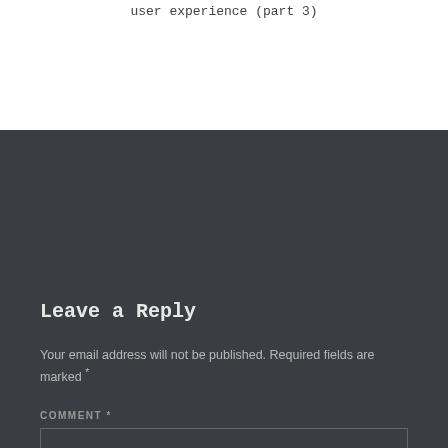user experience (part 3)
Leave a Reply
Your email address will not be published. Required fields are marked *
COMMENT *
[Figure (other): Empty comment text area input box]